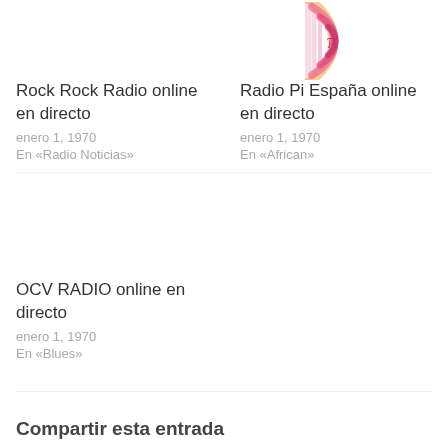[Figure (logo): Radio Pi España logo — colorful play-button icon with Pi symbol]
Rock Rock Radio online en directo
enero 1, 1970
En «Radio Noticias»
Radio Pi España online en directo
enero 1, 1970
En «African»
OCV RADIO online en directo
enero 1, 1970
En «Blues»
Compartir esta entrada